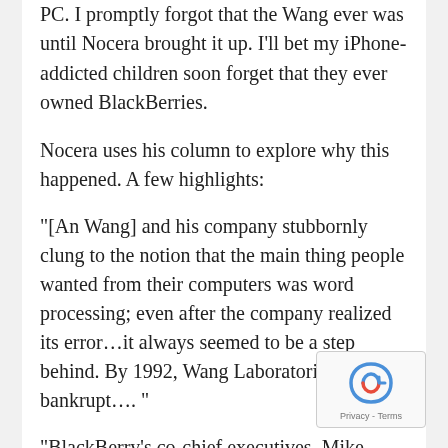PC. I promptly forgot that the Wang ever was until Nocera brought it up. I'll bet my iPhone-addicted children soon forget that they ever owned BlackBerries.
Nocera uses his column to explore why this happened. A few highlights:
“[An Wang] and his company stubbornly clung to the notion that the main thing people wanted from their computers was word processing; even after the company realized its error…it always seemed to be a step behind. By 1992, Wang Laboratories was bankrupt…. ”
“BlackBerry’s co-chief executives, Mike Lazaridis and James Balsillie, simply didn’t